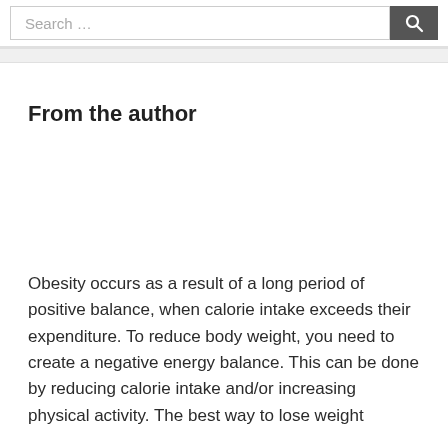Search …
From the author
Obesity occurs as a result of a long period of positive balance, when calorie intake exceeds their expenditure. To reduce body weight, you need to create a negative energy balance. This can be done by reducing calorie intake and/or increasing physical activity. The best way to lose weight